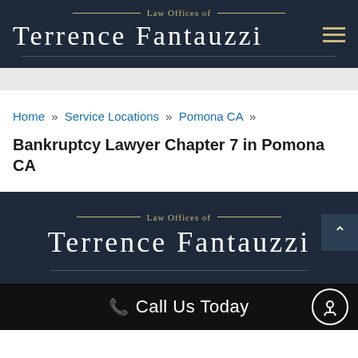Law Offices of Terrence Fantauzzi
Home » Service Locations » Pomona CA »
Bankruptcy Lawyer Chapter 7 in Pomona CA
Law Offices of Terrence Fantauzzi
☎ Call Us Today